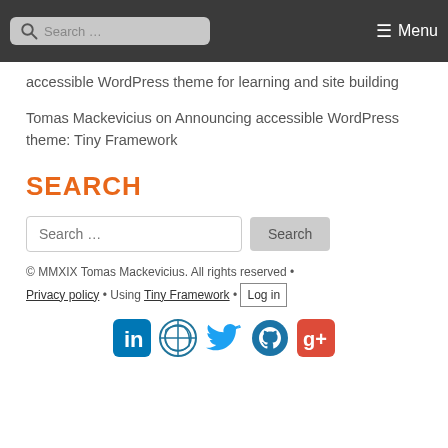Search ... Menu
accessible WordPress theme for learning and site building
Tomas Mackevicius on Announcing accessible WordPress theme: Tiny Framework
SEARCH
Search ... [Search button]
© MMXIX Tomas Mackevicius. All rights reserved • Privacy policy • Using Tiny Framework • Log in
[Figure (illustration): Social media icons: LinkedIn, WordPress, Twitter, GitHub, Google+]